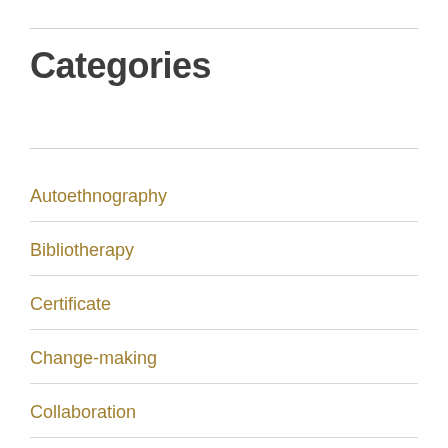Categories
Autoethnography
Bibliotherapy
Certificate
Change-making
Collaboration